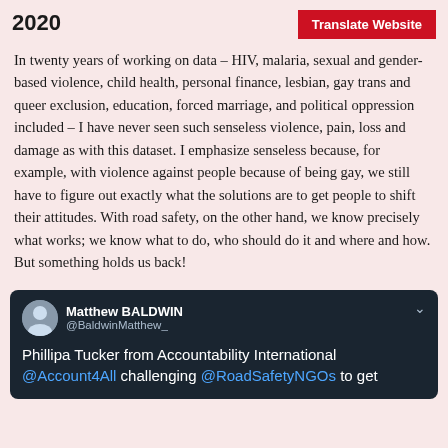2020
Translate Website
In twenty years of working on data – HIV, malaria, sexual and gender-based violence, child health, personal finance, lesbian, gay trans and queer exclusion, education, forced marriage, and political oppression included – I have never seen such senseless violence, pain, loss and damage as with this dataset. I emphasize senseless because, for example, with violence against people because of being gay, we still have to figure out exactly what the solutions are to get people to shift their attitudes. With road safety, on the other hand, we know precisely what works; we know what to do, who should do it and where and how. But something holds us back!
[Figure (screenshot): Tweet by Matthew BALDWIN (@BaldwinMatthew_) saying: Phillipa Tucker from Accountability International @Account4All challenging @RoadSafetyNGOs to get]